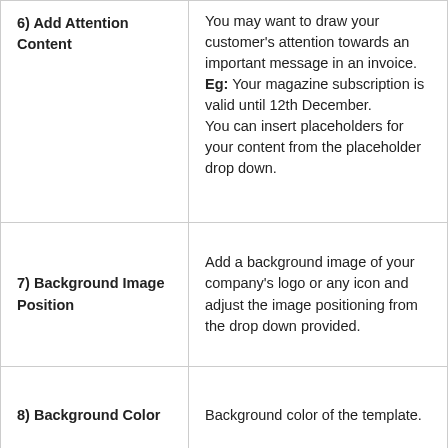| 6) Add Attention Content | You may want to draw your customer's attention towards an important message in an invoice. Eg: Your magazine subscription is valid until 12th December. You can insert placeholders for your content from the placeholder drop down. |
| 7) Background Image Position | Add a background image of your company's logo or any icon and adjust the image positioning from the drop down provided. |
| 8) Background Color | Background color of the template. |
| 9) Label Color | Color of all the labels provided on the template. |